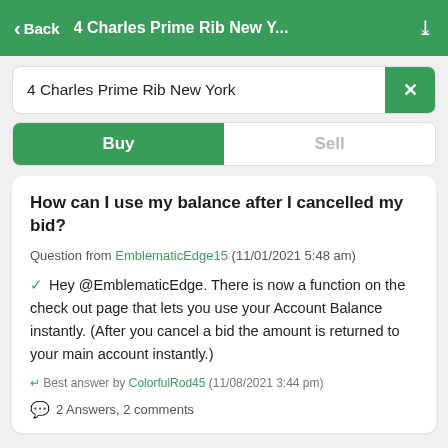< Back   4 Charles Prime Rib New Y...
4 Charles Prime Rib New York
Buy / Sell tabs
How can I use my balance after I cancelled my bid?
Question from EmblematicEdge15 (11/01/2021 5:48 am)
✓ Hey @EmblematicEdge. There is now a function on the check out page that lets you use your Account Balance instantly. (After you cancel a bid the amount is returned to your main account instantly.)
✓ Best answer by ColorfulRod45 (11/08/2021 3:44 pm)
2 Answers, 2 comments